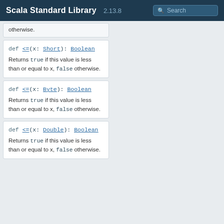Scala Standard Library 2.13.8 Search
… otherwise.
def <=(x: Short): Boolean
Returns true if this value is less than or equal to x, false otherwise.
def <=(x: Byte): Boolean
Returns true if this value is less than or equal to x, false otherwise.
def <=(x: Double): Boolean
Returns true if this value is less than or equal to x, false otherwise.